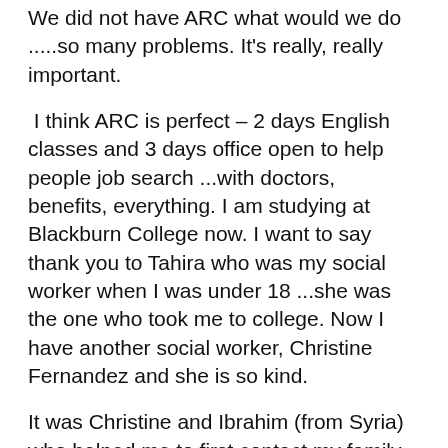We did not have ARC what would we do .....so many problems. It's really, really important.
I think ARC is perfect – 2 days English classes and 3 days office open to help people job search ...with doctors, benefits, everything. I am studying at Blackburn College now. I want to say thank you to Tahira who was my social worker when I was under 18 ...she was the one who took me to college. Now I have another social worker, Christine Fernandez and she is so kind.
It was Christine and Ibrahim (from Syria) who helped me to first contact my family in the ARC project. I contacted a relative in Iran one year ago but my Mum and Dad had moved. He told me it was too dangerous to contact him again . But a few months later he sent me a message